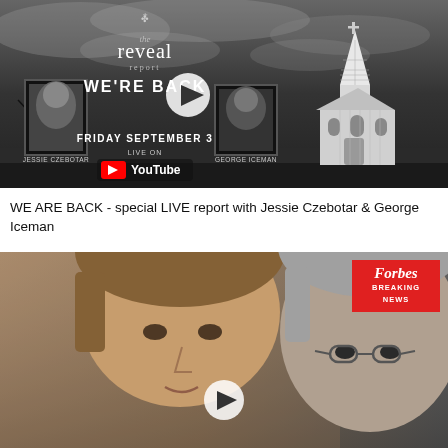[Figure (screenshot): Thumbnail for 'The Reveal Report - WE'RE BACK' YouTube video. Dark stormy background with a church, two portrait photos labeled JESSIE CZEBOTAR and GEORGE ICEMAN, text WE'RE BACK, FRIDAY SEPTEMBER 3, LIVE ON YouTube. Play button in center.]
WE ARE BACK - special LIVE report with Jessie Czebotar & George Iceman
[Figure (screenshot): Thumbnail for a Forbes Breaking News video showing two men's faces, one younger with brown hair and one older with grey hair and glasses. Forbes Breaking News badge in top right corner. Play button in center.]